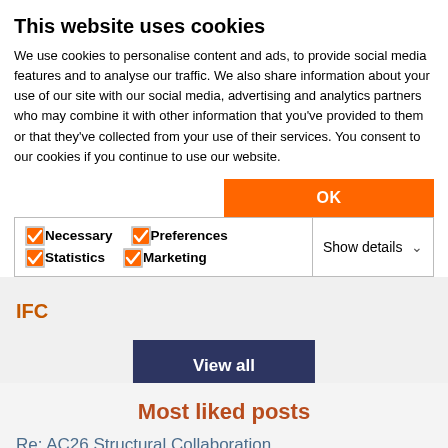This website uses cookies
We use cookies to personalise content and ads, to provide social media features and to analyse our traffic. We also share information about your use of our site with our social media, advertising and analytics partners who may combine it with other information that you've provided to them or that they've collected from your use of their services. You consent to our cookies if you continue to use our website.
OK
Necessary  Preferences  Statistics  Marketing  Show details
IFC
View all
Most liked posts
Re: AC26 Structural Collaboration